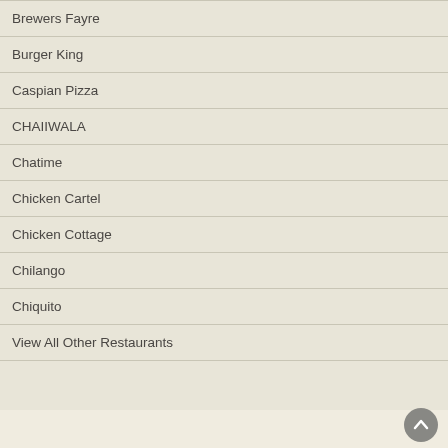Brewers Fayre
Burger King
Caspian Pizza
CHAIIWALA
Chatime
Chicken Cartel
Chicken Cottage
Chilango
Chiquito
View All Other Restaurants